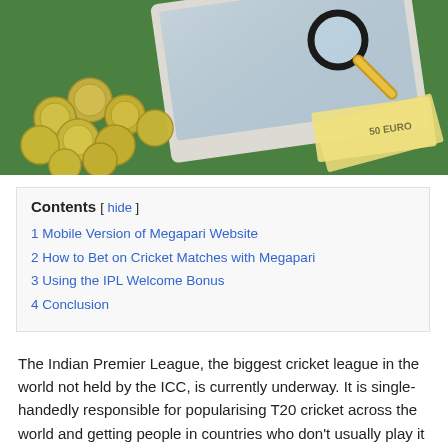[Figure (photo): Photo of coins, paper money (50 euro notes), a laptop, and a magnifying glass on a green surface, viewed from above.]
| Contents | hide |
| 1 Mobile Version of Megapari Website |
| 2 How to Bet on Cricket Matches with Megapari |
| 3 Using the IPL Welcome Bonus |
| 4 Conclusion |
The Indian Premier League, the biggest cricket league in the world not held by the ICC, is currently underway. It is single-handedly responsible for popularising T20 cricket across the world and getting people in countries who don't usually play it interested in the sport. With colourful teams, fast action, and a rabid fanbase, the IPL makes for a very exciting time if